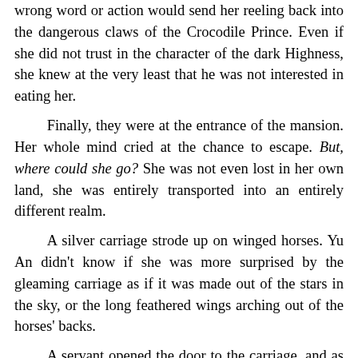wrong word or action would send her reeling back into the dangerous claws of the Crocodile Prince. Even if she did not trust in the character of the dark Highness, she knew at the very least that he was not interested in eating her.
Finally, they were at the entrance of the mansion. Her whole mind cried at the chance to escape. But, where could she go? She was not even lost in her own land, she was entirely transported into an entirely different realm.
A silver carriage strode up on winged horses. Yu An didn't know if she was more surprised by the gleaming carriage as if it was made out of the stars in the sky, or the long feathered wings arching out of the horses' backs.
A servant opened the door to the carriage, and as if playing the part of a doting lover, his dark Highness actually raised up his hand to lift her gallantly up to the carriage first. Yu An only too gleefully complied like a good partner in crime.
When she got on the carriage, she immediately moved as far as she could inside and leaned as deep as she could onto the silk linings. When his dark Highness entered, he